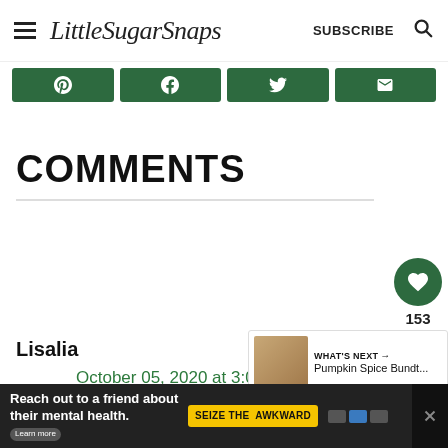LittleSugarSnaps — SUBSCRIBE
[Figure (screenshot): Four green social share buttons with icons for Pinterest, Facebook, Twitter, and Email]
COMMENTS
Lisalia
October 05, 2020 at 3:02 am
[Figure (screenshot): What's Next panel showing Pumpkin Spice Bundt... with thumbnail image]
[Figure (advertisement): Ad banner: Reach out to a friend about their mental health. Learn more. SEIZE THE AWKWARD.]